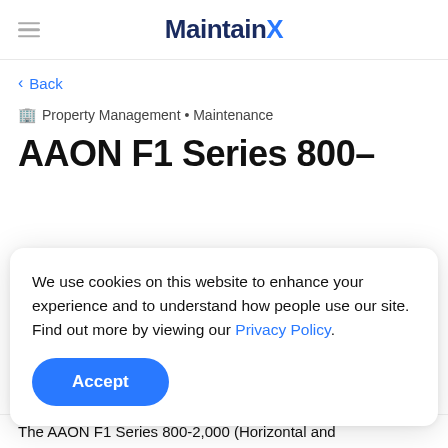MaintainX
< Back
Property Management • Maintenance
AAON F1 Series 800–
We use cookies on this website to enhance your experience and to understand how people use our site. Find out more by viewing our Privacy Policy.
Accept
The AAON F1 Series 800-2,000 (Horizontal and